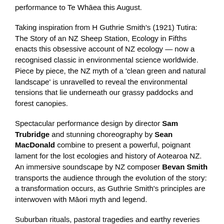performance to Te Whāea this August.
Taking inspiration from H Guthrie Smith's (1921) Tutira: The Story of an NZ Sheep Station, Ecology in Fifths enacts this obsessive account of NZ ecology — now a recognised classic in environmental science worldwide. Piece by piece, the NZ myth of a 'clean green and natural landscape' is unravelled to reveal the environmental tensions that lie underneath our grassy paddocks and forest canopies.
Spectacular performance design by director Sam Trubridge and stunning choreography by Sean MacDonald combine to present a powerful, poignant lament for the lost ecologies and history of Aotearoa NZ. An immersive soundscape by NZ composer Bevan Smith transports the audience through the evolution of the story: a transformation occurs, as Guthrie Smith's principles are interwoven with Māori myth and legend.
Suburban rituals, pastoral tragedies and earthy reveries unfold, with happenings "that assault both our senses and our conscience" (Deirdre Tarrant, Capital Times). This evocative production exposes "the ineffectual and damaging